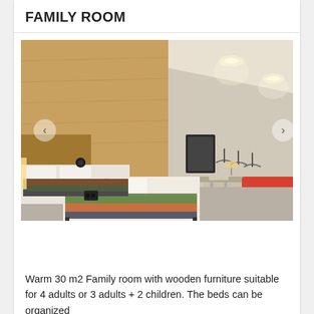FAMILY ROOM
[Figure (photo): Interior photo of a family hotel room showing two beds with striped runners, a red sofa on the right, a desk and chair in the background, coat hangers on the wall, warm wooden wall panels, and recessed lighting on the ceiling.]
Warm 30 m2 Family room with wooden furniture suitable for 4 adults or 3 adults + 2 children. The beds can be organized